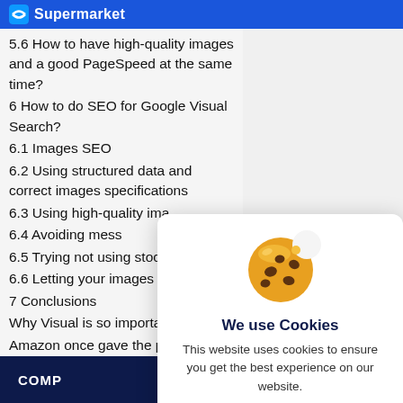Supermarket
5.6 How to have high-quality images and a good PageSpeed at the same time?
6 How to do SEO for Google Visual Search?
6.1 Images SEO
6.2 Using structured data and correct images specifications
6.3 Using high-quality ima[ges]
6.4 Avoiding mess
6.5 Trying not using stock[…]
6.6 Letting your images to[…]
7 Conclusions
Why Visual is so importan[t…]
Amazon once gave the pe[rfect answer to this] question:
COMP…
[Figure (screenshot): Cookie consent modal popup with a cookie emoji icon, title 'We use Cookies', body text 'This website uses cookies to ensure you get the best experience on our website.', a 'Learn more.' link, and an 'Accept' button.]